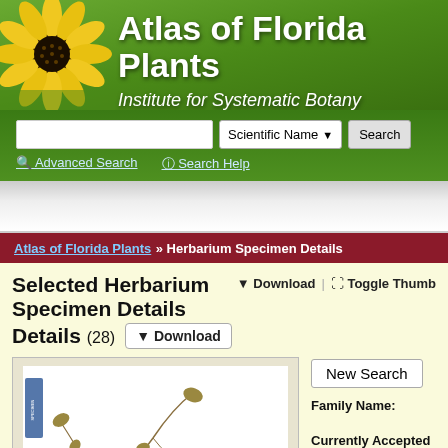[Figure (illustration): Atlas of Florida Plants website header with sunflower image on left and green gradient background with site title and subtitle]
Atlas of Florida Plants
Institute for Systematic Botany
[Figure (screenshot): Search bar with text input, Scientific Name dropdown, Search button, Advanced Search and Search Help links on green background]
[Figure (screenshot): Advertisement banner placeholder area]
Atlas of Florida Plants » Herbarium Specimen Details
Selected Herbarium Specimen Details (28)
Download | Toggle Thumb
[Figure (photo): Herbarium specimen sheet showing dried pressed plant with stems and small leaves on white background with blue label on left side]
New Search
Family Name:
Currently Accepted Name: